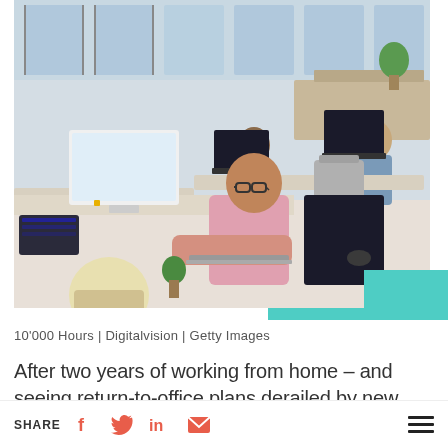[Figure (photo): Office scene with multiple workers sitting at desks with computers in a modern open-plan office. Natural light from large windows. Person in pink shirt prominently in foreground using a Mac computer.]
10'000 Hours | Digitalvision | Getty Images
After two years of working from home – and seeing return-to-office plans derailed by new Covid-19 variants – a growing number of
SHARE